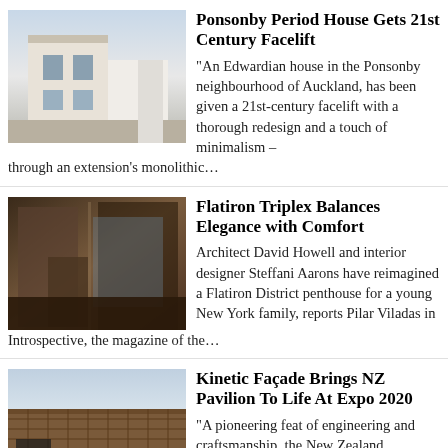[Figure (photo): White Edwardian house exterior with minimalist extension, Ponsonby Auckland]
Ponsonby Period House Gets 21st Century Facelift
“An Edwardian house in the Ponsonby neighbourhood of Auckland, has been given a 21st-century facelift with a thorough redesign and a touch of minimalism – through an extension's monolithic…
[Figure (photo): Interior of Flatiron District penthouse with warm wood tones and large windows]
Flatiron Triplex Balances Elegance with Comfort
Architect David Howell and interior designer Steffani Aarons have reimagined a Flatiron District penthouse for a young New York family, reports Pilar Viladas in Introspective, the magazine of the…
[Figure (photo): NZ Pavilion at Expo 2020 with kinetic facade featuring Kaynemaile architectural mesh]
Kinetic Façade Brings NZ Pavilion To Life At Expo 2020
“A pioneering feat of engineering and craftsmanship, the New Zealand pavilion’s innovative façade made from a unique architectural mesh called Kaynemaile pays homage to the Māori way of life,”…
[Figure (photo): Luxurious interior with gold chandelier described as best furnished in New York City]
Spectacular David Howell creation is “the best furnished in New York City”